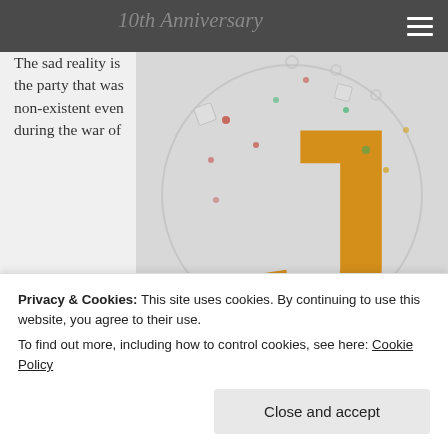10th Anniversary
The sad reality is the party that was non-existent even during the war of
[Figure (photo): Blogging from A to Z April Challenge banner image with 'J' letter, gears and confetti background. Text reads: BLOGGING FROM A TO Z APRIL CHALLENGE a-to-zchallenge.com]
Privacy & Cookies: This site uses cookies. By continuing to use this website, you agree to their use.
To find out more, including how to control cookies, see here: Cookie Policy
any contribution by them, I think a certain individual